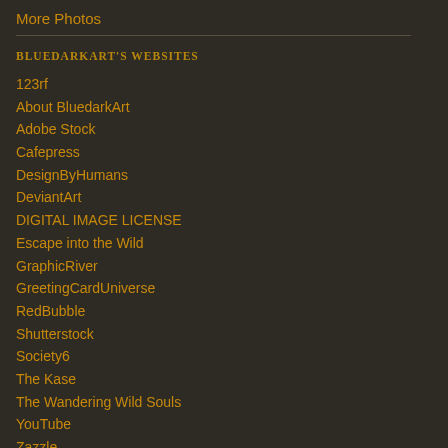More Photos
BLUEDARKART'S WEBSITES
123rf
About BluedarkArt
Adobe Stock
Cafepress
DesignByHumans
DeviantArt
DIGITAL IMAGE LICENSE
Escape into the Wild
GraphicRiver
GreetingCardUniverse
RedBubble
Shutterstock
Society6
The Kase
The Wandering Wild Souls
YouTube
Zazzle